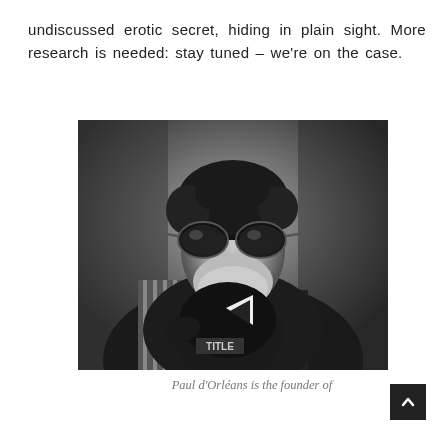undiscussed erotic secret, hiding in plain sight. More research is needed: stay tuned – we're on the case.
[Figure (photo): Black and white portrait photograph of Paul d'Orléans, a bearded man wearing large aviator sunglasses, a scarf or neckerchief, and a leather jacket. He is holding up a boxing glove with a 'TITLE' brand logo visible.]
Paul d'Orléans is the founder of